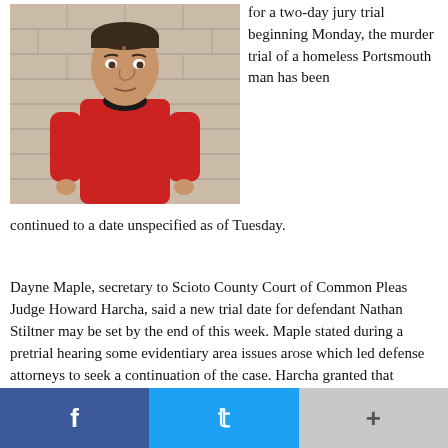[Figure (photo): Mugshot photo of Nathan Stiltner, a thin man wearing a red long-sleeve shirt, standing against a concrete block wall background.]
for a two-day jury trial beginning Monday, the murder trial of a homeless Portsmouth man has been continued to a date unspecified as of Tuesday.
Dayne Maple, secretary to Scioto County Court of Common Pleas Judge Howard Harcha, said a new trial date for defendant Nathan Stiltner may be set by the end of this week. Maple stated during a pretrial hearing some evidentiary area issues arose which led defense attorneys to seek a continuation of the case. Harcha granted that motion.